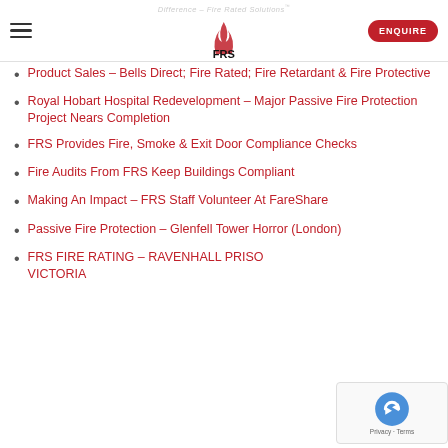FRS – Difference – Fire Rated Solutions | ENQUIRE
Product Sales – Bells Direct; Fire Rated; Fire Retardant & Fire Protective
Royal Hobart Hospital Redevelopment – Major Passive Fire Protection Project Nears Completion
FRS Provides Fire, Smoke & Exit Door Compliance Checks
Fire Audits From FRS Keep Buildings Compliant
Making An Impact – FRS Staff Volunteer At FareShare
Passive Fire Protection – Glenfell Tower Horror (London)
FRS FIRE RATING – RAVENHALL PRISON, VICTORIA